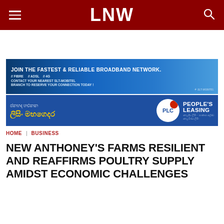LNW
[Figure (illustration): SLT-Mobitel broadband advertisement banner: JOIN THE FASTEST & RELIABLE BROADBAND NETWORK. // FIBRE // ADSL // 4G CONTACT YOUR NEAREST SLT-MOBITEL BRANCH TO RESERVE YOUR CONNECTION TODAY!]
[Figure (illustration): People's Leasing Company (PLC) advertisement banner in Sinhala script with PLC logo badge]
HOME | BUSINESS
NEW ANTHONEY'S FARMS RESILIENT AND REAFFIRMS POULTRY SUPPLY AMIDST ECONOMIC CHALLENGES